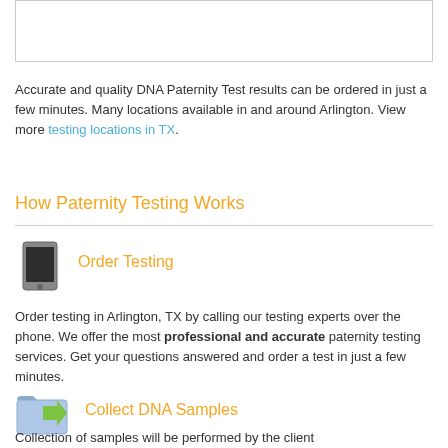[Figure (other): Empty white box with border, likely an image placeholder]
Accurate and quality DNA Paternity Test results can be ordered in just a few minutes. Many locations available in and around Arlington. View more testing locations in TX.
How Paternity Testing Works
[Figure (illustration): Small icon of a mobile phone/tablet device, gray colored]
Order Testing
Order testing in Arlington, TX by calling our testing experts over the phone. We offer the most professional and accurate paternity testing services. Get your questions answered and order a test in just a few minutes.
[Figure (illustration): Small icon of a folder with a green arrow, representing collecting/receiving samples]
Collect DNA Samples
Collection of samples will be performed by the client